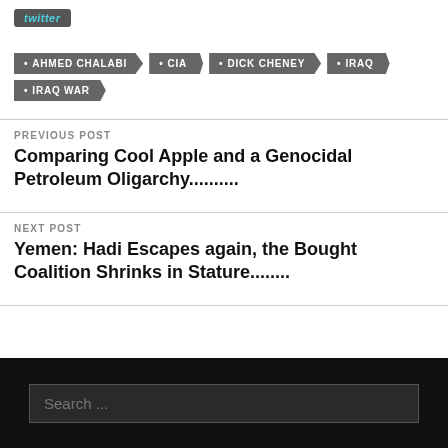[Figure (logo): Twitter button with cyan text on dark grey background]
AHMED CHALABI
CIA
DICK CHENEY
IRAQ
IRAQ WAR
PREVIOUS POST
Comparing Cool Apple and a Genocidal Petroleum Oligarchy..........
NEXT POST
Yemen: Hadi Escapes again, the Bought Coalition Shrinks in Stature........
Search ...